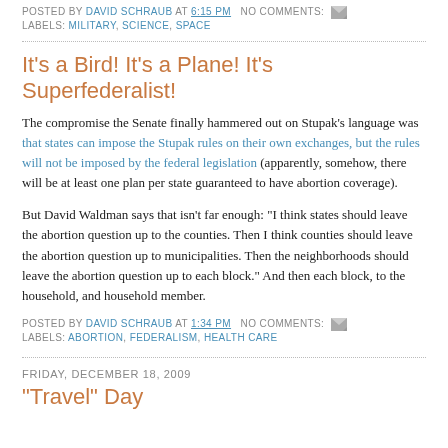POSTED BY DAVID SCHRAUB AT 6:15 PM   NO COMMENTS:
LABELS: MILITARY, SCIENCE, SPACE
It's a Bird! It's a Plane! It's Superfederalist!
The compromise the Senate finally hammered out on Stupak's language was that states can impose the Stupak rules on their own exchanges, but the rules will not be imposed by the federal legislation (apparently, somehow, there will be at least one plan per state guaranteed to have abortion coverage).
But David Waldman says that isn't far enough: "I think states should leave the abortion question up to the counties. Then I think counties should leave the abortion question up to municipalities. Then the neighborhoods should leave the abortion question up to each block." And then each block, to the household, and household member.
POSTED BY DAVID SCHRAUB AT 1:34 PM   NO COMMENTS:
LABELS: ABORTION, FEDERALISM, HEALTH CARE
FRIDAY, DECEMBER 18, 2009
"Travel" Day